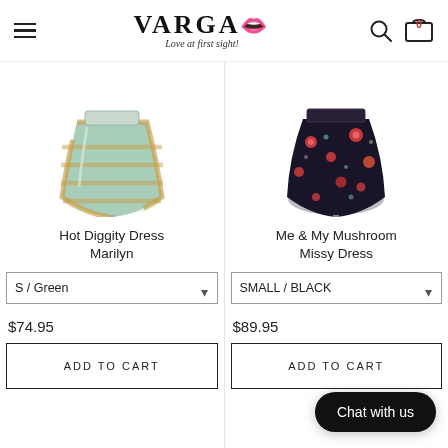VARGA — Love at first sight!
[Figure (photo): Hot Diggity Dress Marilyn — a light green/teal striped full circle skirt on a mannequin stand]
Hot Diggity Dress Marilyn
S / Green
$74.95
ADD TO CART
[Figure (photo): Me & My Mushroom Missy Dress — a dark/black floral skirt with mushroom pattern on a mannequin]
Me & My Mushroom Missy Dress
SMALL / BLACK
$89.95
ADD TO CART
Chat with us